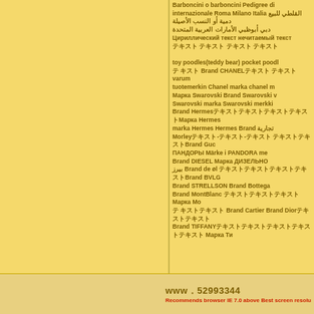Barboncini o barboncini Pedigree di internazionale Roma Milano Italia
أو النسب الأصيلة ‌القلطي للبيع دمية
دبي أبوظبي الأمارات العربية المتحدة
[Cyrillic/other script text]
toy poodles(teddy bear) pocket poodles Brand CHANEL varum tuotemerkin Chanel marka chanel m Марка Swarovski Brand Swarovski Swarovski marka Swarovski merkki Brand Hermes Марка Hermes marka Hermes Hermes Brand تجارية Morley Brand Gucci ПАНДОРЫ Märke i PANDORA me Brand DIESEL Марка ДИЗЕЛЬНО بيرز Brand de øl Brand BVLG Brand STRELLSON Brand Bottega Brand MontBlanc Марка Мо Brand Cartier Brand Dior Brand TIFFANY Марка Ти
www.52993344
Recommends browser IE 7.0 above Best screen resolu